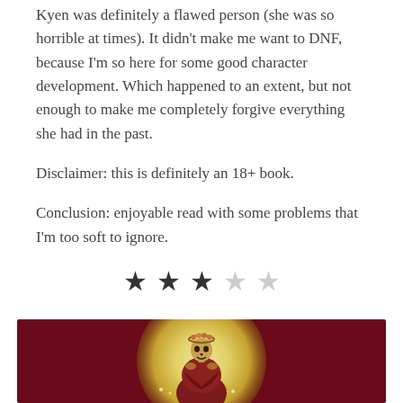Kyen was definitely a flawed person (she was so horrible at times). It didn't make me want to DNF, because I'm so here for some good character development. Which happened to an extent, but not enough to make me completely forgive everything she had in the past.
Disclaimer: this is definitely an 18+ book.
Conclusion: enjoyable read with some problems that I'm too soft to ignore.
[Figure (other): Five-star rating display showing 3 filled black stars and 2 empty grey stars]
[Figure (illustration): Fantasy illustration of a skeletal figure wearing a crown of flowers, wrapped in a dark red cloak, set against a glowing yellow circular background on a dark crimson backdrop.]